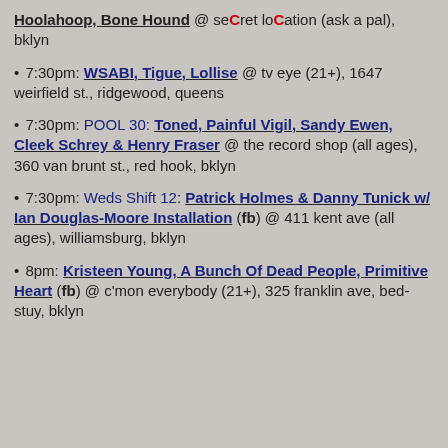Hoolahoop, Bone Hound @ seCret loCation (ask a pal), bklyn
• 7:30pm: WSABI, Tigue, Lollise @ tv eye (21+), 1647 weirfield st., ridgewood, queens
• 7:30pm: POOL 30: Toned, Painful Vigil, Sandy Ewen, Cleek Schrey & Henry Fraser @ the record shop (all ages), 360 van brunt st., red hook, bklyn
• 7:30pm: Weds Shift 12: Patrick Holmes & Danny Tunick w/ Ian Douglas-Moore Installation (fb) @ 411 kent ave (all ages), williamsburg, bklyn
• 8pm: Kristeen Young, A Bunch Of Dead People, Primitive Heart (fb) @ c'mon everybody (21+), 325 franklin ave, bed-stuy, bklyn